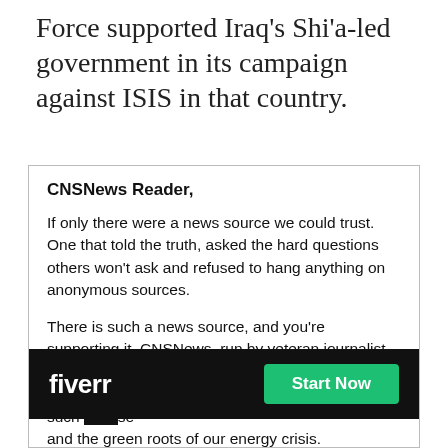Force supported Iraq's Shi'a-led government in its campaign against ISIS in that country.
CNSNews Reader,
If only there were a news source we could trust. One that told the truth, asked the hard questions others won't ask and refused to hang anything on anonymous sources.
There is such a news source, and you're supporting it. CNSNews, run by veteran journalist Terry Jeffrey, covers the news as it should be, without fear or favor. CNS[...] over, such [...] se and the green roots of our energy crisis.
[Figure (other): Fiverr advertisement banner with dark background, Fiverr logo in white bold text on left, and green 'Start Now' button on right.]